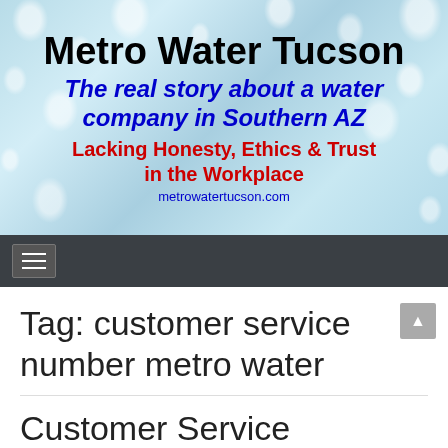[Figure (illustration): Website banner header for Metro Water Tucson blog with water droplet background. Contains site title 'Metro Water Tucson', subtitle 'The real story about a water company in Southern AZ', tagline 'Lacking Honesty, Ethics & Trust in the Workplace', and URL 'metrowatertucson.com']
≡ (hamburger navigation menu button on dark gray navbar)
Tag: customer service number metro water
Customer Service